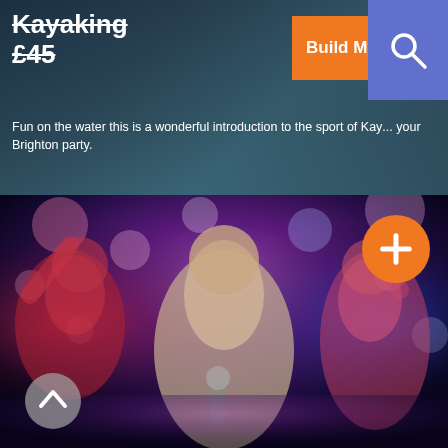Kayaking
£45
Fun on the water this is a wonderful introduction to the sport of Kay... your Brighton party.
[Figure (screenshot): Orange 'Build My Hen Party' button with arrow, blue search icon button in top-right]
[Figure (photo): Three young women dancing and singing with microphone at a hen party, bokeh lights background, orange plus button overlay, grey up-arrow button]